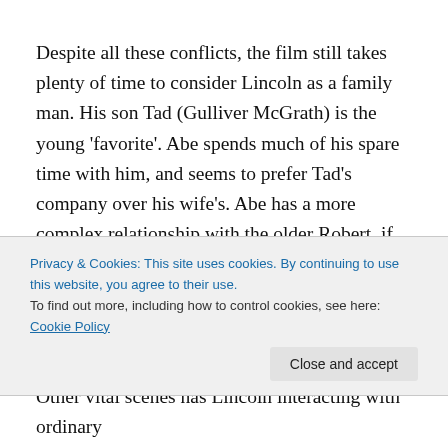Despite all these conflicts, the film still takes plenty of time to consider Lincoln as a family man. His son Tad (Gulliver McGrath) is the young 'favorite'. Abe spends much of his spare time with him, and seems to prefer Tad's company over his wife's. Abe has a more complex relationship with the older Robert, if only because Robert's age and opinions make their relationship less easy. We still see Abe being a dad, though, as he tries to be there for Robert
Privacy & Cookies: This site uses cookies. By continuing to use this website, you agree to their use.
To find out more, including how to control cookies, see here: Cookie Policy
Other vital scenes has Lincoln interacting with ordinary